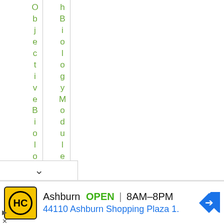[Figure (screenshot): Screenshot of a website navigation or table of contents showing two vertical text columns. Left column reads 'Objective Biology' character by character top to bottom. Right column reads 'hBiology Module' character by character top to bottom. Both in green color with a chevron/down arrow at the bottom.]
[Figure (infographic): Advertisement banner for HC (Harvest Center) store in Ashburn. Shows yellow HC logo, text 'Ashburn OPEN 8AM-8PM 44110 Ashburn Shopping Plaza 1.' with a blue navigation arrow icon. Small play and close controls at bottom left.]